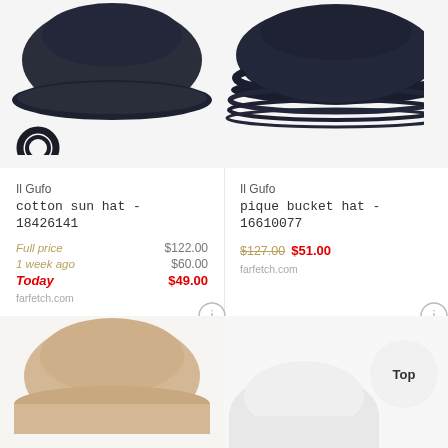[Figure (photo): Dark navy bucket-style sun hat with strap, top-down view cropped, left column]
[Figure (photo): Dark navy bucket hat with ribbed brim, top-down view cropped, right column]
Il Gufo
cotton sun hat - 18426141
Full price $122.00
1 week ago $60.00
Today $49.00
farfetch.com
Il Gufo
pique bucket hat - 16610077
$127.00 $51.00
farfetch.com
[Figure (photo): Beige/cream bucket hat bottom portion, left column]
[Figure (photo): White hat and Top button overlay, right column]